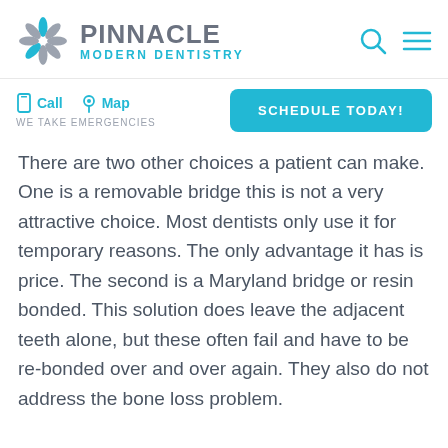PINNACLE MODERN DENTISTRY
Call   Map   WE TAKE EMERGENCIES   SCHEDULE TODAY!
There are two other choices a patient can make. One is a removable bridge this is not a very attractive choice. Most dentists only use it for temporary reasons. The only advantage it has is price. The second is a Maryland bridge or resin bonded. This solution does leave the adjacent teeth alone, but these often fail and have to be re-bonded over and over again. They also do not address the bone loss problem.